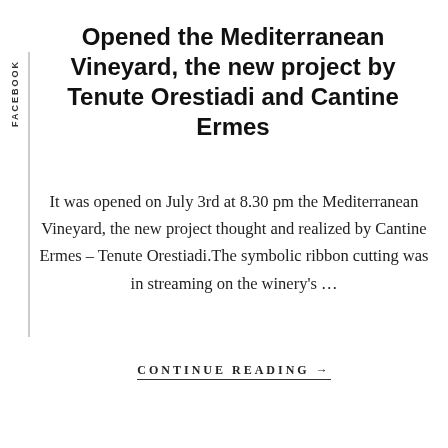FACEBOOK
Opened the Mediterranean Vineyard, the new project by Tenute Orestiadi and Cantine Ermes
It was opened on July 3rd at 8.30 pm the Mediterranean Vineyard, the new project thought and realized by Cantine Ermes – Tenute Orestiadi.The symbolic ribbon cutting was in streaming on the winery's …
CONTINUE READING →